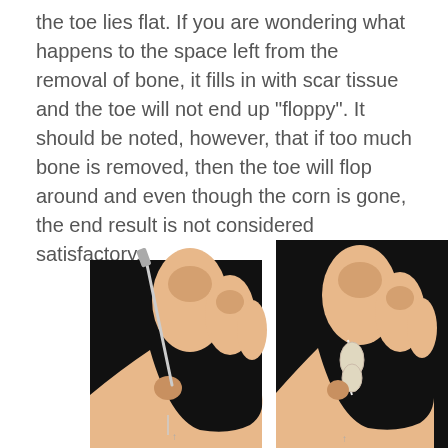the toe lies flat. If you are wondering what happens to the space left from the removal of bone, it fills in with scar tissue and the toe will not end up "floppy". It should be noted, however, that if too much bone is removed, then the toe will flop around and even though the corn is gone, the end result is not considered satisfactory.
[Figure (illustration): Two side-by-side medical illustrations on a black background showing toes. The left image shows a surgical instrument (probe/needle) being inserted between the toes near a corn/lesion. The right image shows the toes after the procedure with visible bone/tissue structure between the toes.]